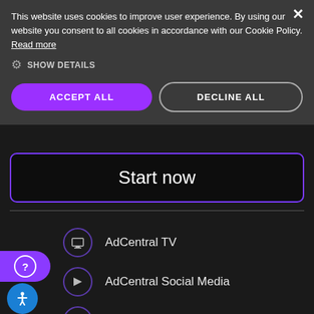This website uses cookies to improve user experience. By using our website you consent to all cookies in accordance with our Cookie Policy. Read more
⚙ SHOW DETAILS
ACCEPT ALL
DECLINE ALL
Start now
AdCentral TV
AdCentral Social Media
AdCentral Check-ins
AdCentral Sites